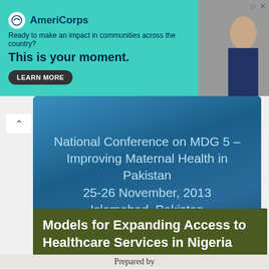[Figure (infographic): AmeriCorps advertisement banner with teal background. Logo shows white circle with AmeriCorps mark. Text: Ready to make an impact in communities across the country? This is your moment. LEARN MORE button. Right side shows photo of a person.]
[Figure (infographic): Conference slide with blue gradient background. Text reads: National Conference on MDG 5 – Improving Maternal Health in Pakistan 25-26 November, 2013 Islamabad, Pakistan]
Models for Expanding Access to Healthcare Services in Nigeria
Prepared by